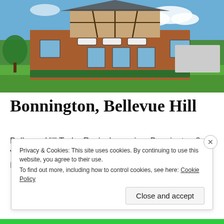[Figure (photo): Exterior photo of Bonnington, a Tudor Revival brick mansion in Bellevue Hill with large green lawn and blue sky]
Bonnington, Bellevue Hill
Bellevue Hill Tudor Revival mansion, Bonnington 8 Victoria Road Bellevue Hill NSW The long-time Bellevue Hill home of the late … More
Privacy & Cookies: This site uses cookies. By continuing to use this website, you agree to their use.
To find out more, including how to control cookies, see here: Cookie Policy
Close and accept